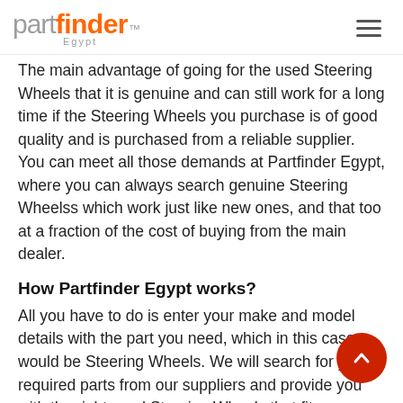partfinder Egypt
The main advantage of going for the used Steering Wheels that it is genuine and can still work for a long time if the Steering Wheels you purchase is of good quality and is purchased from a reliable supplier. You can meet all those demands at Partfinder Egypt, where you can always search genuine Steering Wheelss which work just like new ones, and that too at a fraction of the cost of buying from the main dealer.
How Partfinder Egypt works?
All you have to do is enter your make and model details with the part you need, which in this case would be Steering Wheels. We will search for your required parts from our suppliers and provide you with the right used Steering Wheels that fits your vehicle. The used part sellers in our network, who has your Steering Wheels in stock, will send you price quotes. You can compare the prices and buy from the one that suits you. That way, you are guaranteed to save both your money and